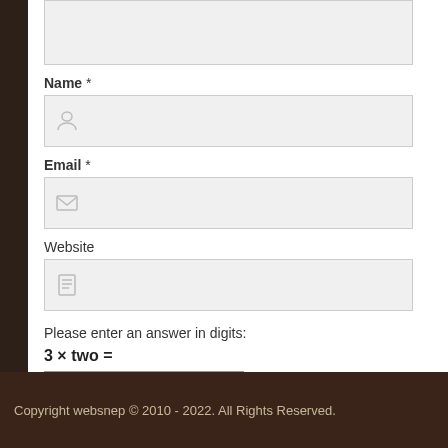Name *
[Figure (screenshot): Name input field with person/user icon on grey background]
Email *
[Figure (screenshot): Email input field with envelope icon on grey background]
Website
[Figure (screenshot): Website input field with document icon on grey background]
Please enter an answer in digits:
3 × two =
[Figure (screenshot): Answer input field for captcha]
Submit Comment
Copyright websnep © 2010 - 2022. All Rights Reserved.